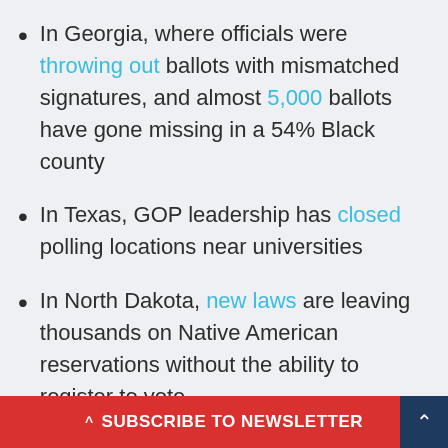In Georgia, where officials were throwing out ballots with mismatched signatures, and almost 5,000 ballots have gone missing in a 54% Black county
In Texas, GOP leadership has closed polling locations near universities
In North Dakota, new laws are leaving thousands on Native American reservations without the ability to register to vote
After you've voted, help ensure every sing... othe...